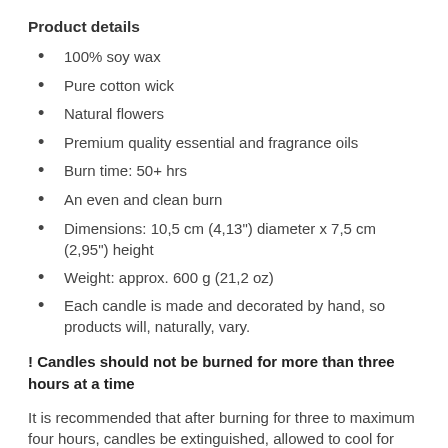Product details
100% soy wax
Pure cotton wick
Natural flowers
Premium quality essential and fragrance oils
Burn time: 50+ hrs
An even and clean burn
Dimensions: 10,5 cm (4,13") diameter x 7,5 cm (2,95") height
Weight: approx. 600 g (21,2 oz)
Each candle is made and decorated by hand, so products will, naturally, vary.
! Candles should not be burned for more than three hours at a time
It is recommended that after burning for three to maximum four hours, candles be extinguished, allowed to cool for two hours, and trimmed before relighting.